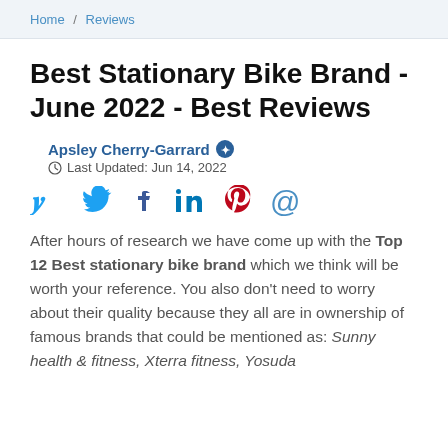Home / Reviews
Best Stationary Bike Brand - June 2022 - Best Reviews
Apsley Cherry-Garrard ✪
Last Updated: Jun 14, 2022
[Figure (other): Social media share icons: Twitter, Facebook, LinkedIn, Pinterest, Email]
After hours of research we have come up with the Top 12 Best stationary bike brand which we think will be worth your reference. You also don't need to worry about their quality because they all are in ownership of famous brands that could be mentioned as: Sunny health & fitness, Xterra fitness, Yosuda